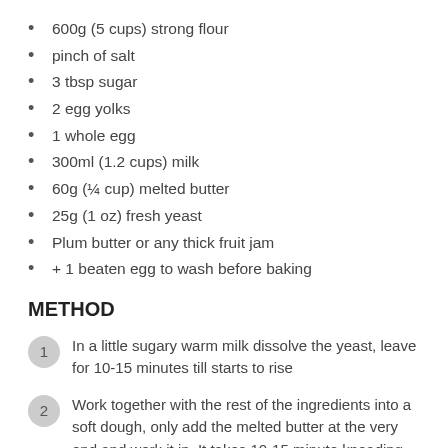600g (5 cups) strong flour
pinch of salt
3 tbsp sugar
2 egg yolks
1 whole egg
300ml (1.2 cups) milk
60g (¼ cup) melted butter
25g (1 oz) fresh yeast
Plum butter or any thick fruit jam
+ 1 beaten egg to wash before baking
METHOD
In a little sugary warm milk dissolve the yeast, leave for 10-15 minutes till starts to rise
Work together with the rest of the ingredients into a soft dough, only add the melted butter at the very end and work it in. It takes 10-15 minute kneading by hand which I do in the mixing bowl. It always looks hopeless at first but eventually transforms into something that resembles to a smooth elastic dough and comes away clean from the bowl